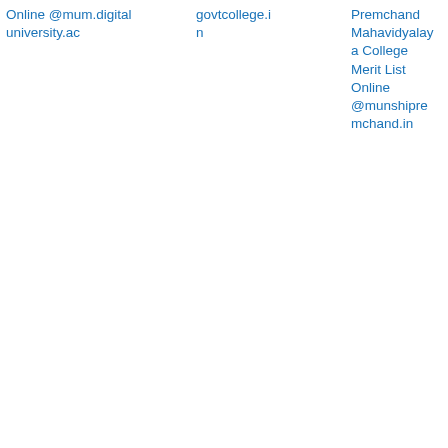Online @mum.digitaluniversity.ac
govtcollege.in
Premchand Mahavidyalaya College Merit List Online @munshipremchand.in
Online @muralidhargir lscollege.ac.in
[Figure (photo): Image showing text 'merit list' in typewriter font on a beige background with a rainbow-colored bar on the right side. Small text at bottom reads 'twelye.co.za'.]
Murshidabad Adarsha Mahavidyalaya Merit List 2022: Download Murshidabad Adarsha Mahavidyalaya Merit List Online @murshidabadadarshamah